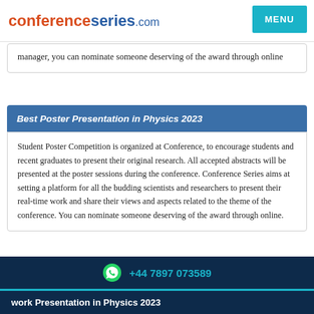conferenceseries.com MENU
manager, you can nominate someone deserving of the award through online
Best Poster Presentation in Physics 2023
Student Poster Competition is organized at Conference, to encourage students and recent graduates to present their original research. All accepted abstracts will be presented at the poster sessions during the conference. Conference Series aims at setting a platform for all the budding scientists and researchers to present their real-time work and share their views and aspects related to the theme of the conference. You can nominate someone deserving of the award through online.
+44 7897 073589
work Presentation in Physics 2023